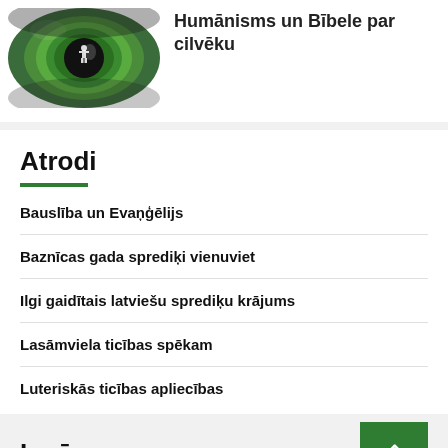[Figure (photo): Close-up of a green eye with a silhouette of a person reflected in it]
Humānisms un Bībele par cilvēku
Atrodi
Bauslība un Evaņģēlijs
Baznīcas gada sprediķi vienuviet
Ilgi gaidītais latviešu sprediķu krājums
Lasāmviela ticības spēkam
Luteriskās ticības apliecības
Ienāc
e-baznīcēns